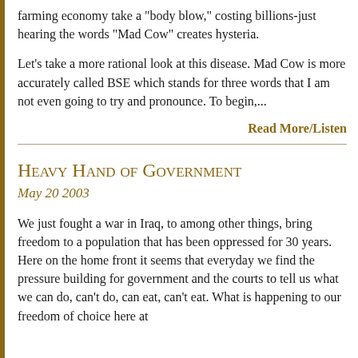farming economy take a "body blow," costing billions-just hearing the words "Mad Cow" creates hysteria.
Let's take a more rational look at this disease. Mad Cow is more accurately called BSE which stands for three words that I am not even going to try and pronounce. To begin,...
Read More/Listen
Heavy Hand of Government
May 20 2003
We just fought a war in Iraq, to among other things, bring freedom to a population that has been oppressed for 30 years. Here on the home front it seems that everyday we find the pressure building for government and the courts to tell us what we can do, can't do, can eat, can't eat. What is happening to our freedom of choice here at